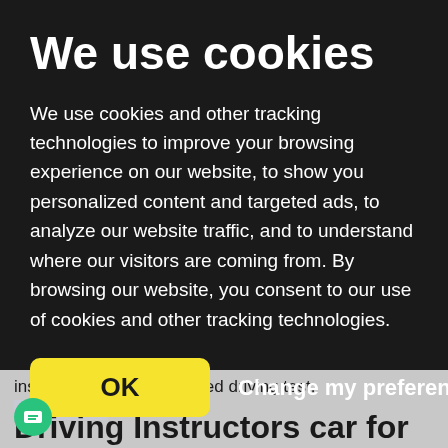We use cookies
We use cookies and other tracking technologies to improve your browsing experience on our website, to show you personalized content and targeted ads, to analyze our website traffic, and to understand where our visitors are coming from. By browsing our website, you consent to our use of cookies and other tracking technologies.
OK   Change my preferences
instructors for the advanced driving test.
Contact us >
Driving Instructors car for